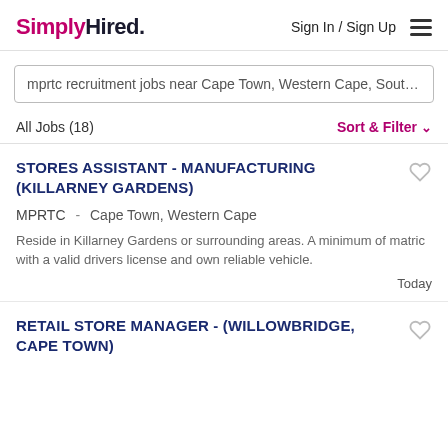SimplyHired. Sign In / Sign Up ☰
mprtc recruitment jobs near Cape Town, Western Cape, South Af
All Jobs (18)
Sort & Filter
STORES ASSISTANT - MANUFACTURING (KILLARNEY GARDENS)
MPRTC -  Cape Town, Western Cape
Reside in Killarney Gardens or surrounding areas. A minimum of matric with a valid drivers license and own reliable vehicle.
Today
RETAIL STORE MANAGER - (WILLOWBRIDGE, CAPE TOWN)